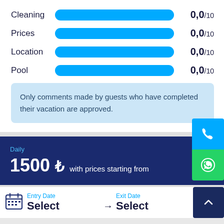[Figure (other): Rating bars for Cleaning, Prices, Location, Pool each showing 0,0/10 with a full blue bar]
Only comments made by guests who have completed their vacation are approved.
Daily 1500 ₺ with prices starting from
Entry Date Select
Exit Date Select